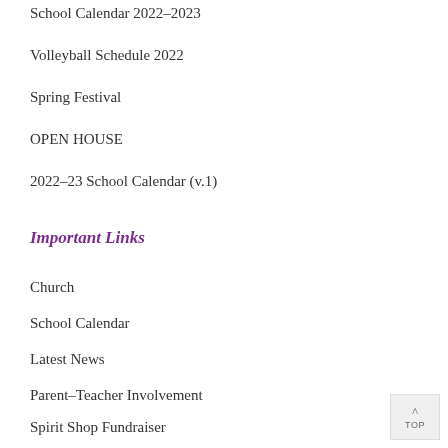School Calendar 2022-2023
Volleyball Schedule 2022
Spring Festival
OPEN HOUSE
2022-23 School Calendar (v.1)
Important Links
Church
School Calendar
Latest News
Parent-Teacher Involvement
Spirit Shop Fundraiser